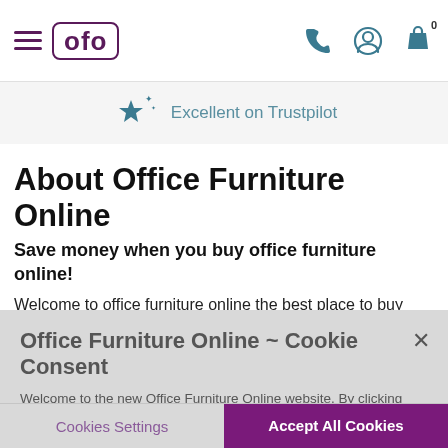ofo
Excellent on Trustpilot
About Office Furniture Online
Save money when you buy office furniture online!
Welcome to office furniture online the best place to buy office furniture on the internet. With over 10,000 furniture items at discounted prices, office furniture online is your one-stop-shop for
Office Furniture Online ~ Cookie Consent
Welcome to the new Office Furniture Online website. By clicking “Accept All Cookies”, you agree to the storing of cookies on your device to enhance site navigation, analyze site usage, and assist in our marketing efforts.
Cookies Settings
Accept All Cookies